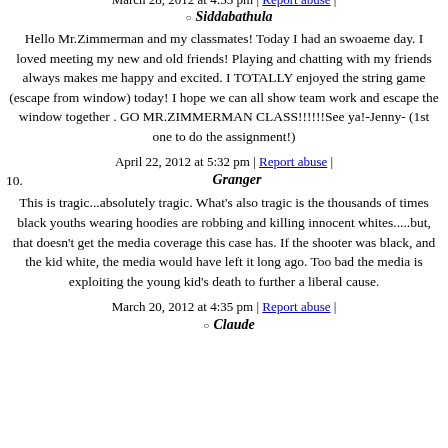March 28, 2012 at 4:55 pm | Report abuse |
Siddabathula
Hello Mr.Zimmerman and my classmates! Today I had an swoaeme day. I loved meeting my new and old friends! Playing and chatting with my friends always makes me happy and excited. I TOTALLY enjoyed the string game (escape from window) today! I hope we can all show team work and escape the window together . GO MR.ZIMMERMAN CLASS!!!!!!See ya!-Jenny- (1st one to do the assignment!)
April 22, 2012 at 5:32 pm | Report abuse |
10. Granger
This is tragic...absolutely tragic. What's also tragic is the thousands of times black youths wearing hoodies are robbing and killing innocent whites.....but, that doesn't get the media coverage this case has. If the shooter was black, and the kid white, the media would have left it long ago. Too bad the media is exploiting the young kid's death to further a liberal cause.
March 20, 2012 at 4:35 pm | Report abuse |
Claude